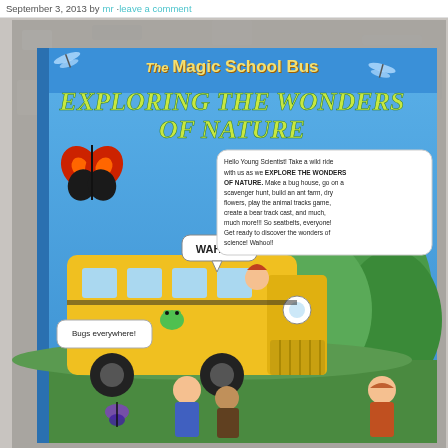September 3, 2013 by mr · leave a comment
[Figure (photo): Photograph of The Magic School Bus: Exploring the Wonders of Nature book/kit box cover, showing a yellow school bus with cartoon children and nature illustrations including butterflies and dragonflies, on a gray granite background. The cover shows title text 'The Magic School Bus - Exploring the Wonders of Nature' and a speech bubble with descriptive text about the kit's activities.]